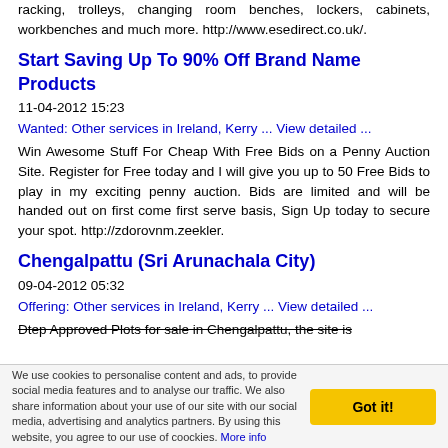racking, trolleys, changing room benches, lockers, cabinets, workbenches and much more. http://www.esedirect.co.uk/.
Start Saving Up To 90% Off Brand Name Products
11-04-2012 15:23
Wanted: Other services in Ireland, Kerry ... View detailed ...
Win Awesome Stuff For Cheap With Free Bids on a Penny Auction Site. Register for Free today and I will give you up to 50 Free Bids to play in my exciting penny auction. Bids are limited and will be handed out on first come first serve basis, Sign Up today to secure your spot. http://zdorovnm.zeekler.
Chengalpattu (Sri Arunachala City)
09-04-2012 05:32
Offering: Other services in Ireland, Kerry ... View detailed ...
Dtep Approved Plots for sale in Chengalpattu, the site is
We use cookies to personalise content and ads, to provide social media features and to analyse our traffic. We also share information about your use of our site with our social media, advertising and analytics partners. By using this website, you agree to our use of coockies. More info